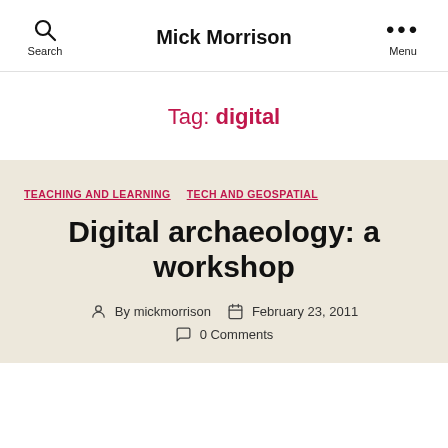Search | Mick Morrison | Menu
Tag: digital
TEACHING AND LEARNING  TECH AND GEOSPATIAL
Digital archaeology: a workshop
By mickmorrison  February 23, 2011  0 Comments